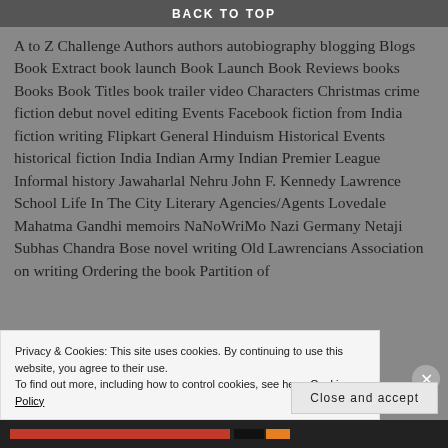BACK TO TOP
A to Z Challenge Authors authors autobiography blogging Blogs Book Extract book launch Book Launch Book Reviews books Books Book Titles book trailer video Characters Christmas crime fiction debut novel editing Events Facebook fiction from India fiction writing Flipkart General Hinduism Historical Events historical fiction India Indian Army Indian Premier League Informal history Jawaharlal Nehru John F. Kennedy Lawrence School Life In The City Literary Agencies/Agents Lovedale Mahatma Gandhi memoirs NaNoWriMo Nazi Germany Netaji Subhas Chandra Bose novel writing Old Lawrencians Association on writing Ordering the book Partition of
Privacy & Cookies: This site uses cookies. By continuing to use this website, you agree to their use.
To find out more, including how to control cookies, see here: Cookie Policy
Close and accept